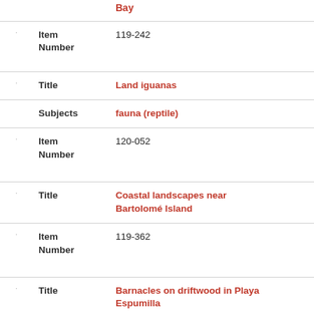Bay
Item Number: 119-242
Title: Land iguanas
Subjects: fauna (reptile)
Item Number: 120-052
Title: Coastal landscapes near Bartolomé Island
Item Number: 119-362
Title: Barnacles on driftwood in Playa Espumilla